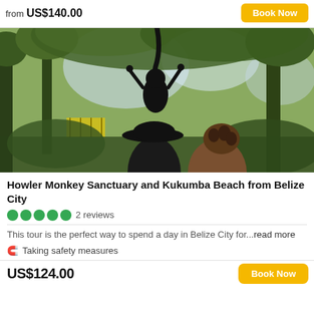from US$140.00
[Figure (photo): Photo of a black howler monkey hanging from a tree above two people in a jungle/garden setting with green trees and foliage]
Howler Monkey Sanctuary and Kukumba Beach from Belize City
●●●●● 2 reviews
This tour is the perfect way to spend a day in Belize City for...read more
🦺 Taking safety measures
US$124.00